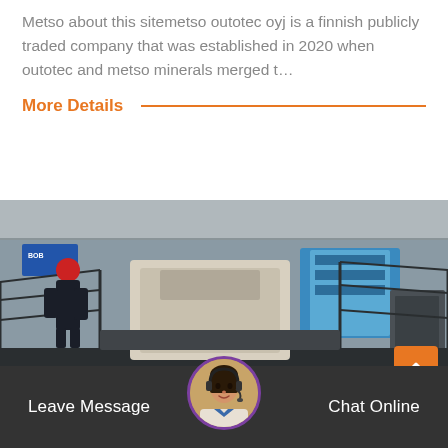Metso about this sitemetso outotec oyj is a finnish publicly traded company that was established in 2020 when outotec and metso minerals merged t…
More Details
[Figure (photo): Industrial heavy machinery (mobile crusher/screener) in a warehouse or factory setting. A worker in dark clothing and red hard hat is operating or inspecting the machine. Blue wrapped pallets and other equipment visible in background.]
Leave Message
Chat Online